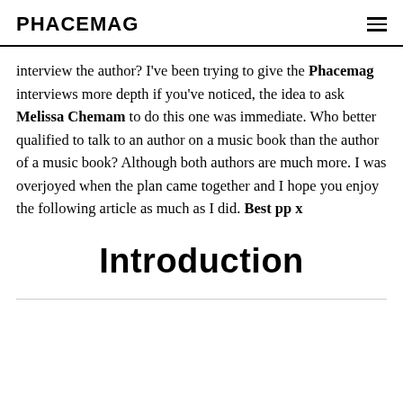PHACEMAG
interview the author? I've been trying to give the Phacemag interviews more depth if you've noticed, the idea to ask Melissa Chemam to do this one was immediate. Who better qualified to talk to an author on a music book than the author of a music book? Although both authors are much more. I was overjoyed when the plan came together and I hope you enjoy the following article as much as I did. Best pp x
Introduction